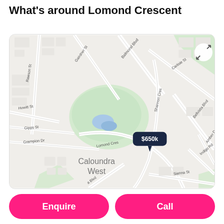What's around Lomond Crescent
[Figure (map): Street map showing Lomond Crescent area in Caloundra West, Queensland, Australia. Streets visible include Rawson St, Gairdner St, Howitt St, Gipps St, Grampion Dr, Lomond Cres, Balmoral Blvd, Shannon Cres, Carlisle St, Bellvista Blvd, Indigo Rd, Amber Dr, Sienna St. A price marker showing $650k is pinned on Lomond Crescent. A small blue pond is visible in the park area. An expand/fullscreen button is in the top right corner.]
Enquire
Call